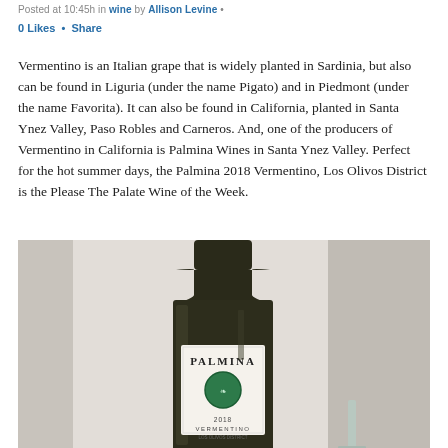Posted at 10:45h in wine by Allison Levine •
0 Likes  •  Share
Vermentino is an Italian grape that is widely planted in Sardinia, but also can be found in Liguria (under the name Pigato) and in Piedmont (under the name Favorita). It can also be found in California, planted in Santa Ynez Valley, Paso Robles and Carneros. And, one of the producers of Vermentino in California is Palmina Wines in Santa Ynez Valley. Perfect for the hot summer days, the Palmina 2018 Vermentino, Los Olivos District is the Please The Palate Wine of the Week.
[Figure (photo): Photo of a Palmina 2018 Vermentino wine bottle with a white label featuring a green circular emblem, shown against a light background.]